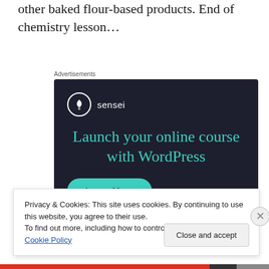other baked flour-based products. End of chemistry lesson…
Advertisements
[Figure (other): Sensei advertisement: dark navy background with Sensei logo (tree icon in circle), teal headline 'Launch your online course with WordPress', and a teal 'Learn More' button.]
Privacy & Cookies: This site uses cookies. By continuing to use this website, you agree to their use.
To find out more, including how to control cookies, see here: Cookie Policy
Close and accept